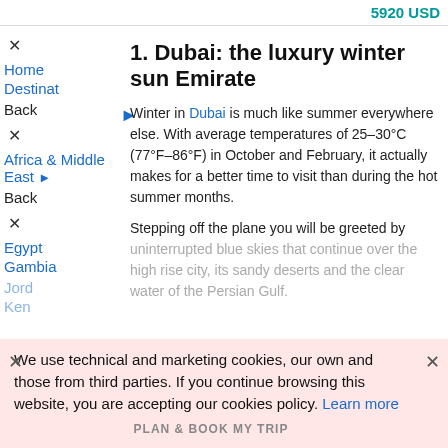5920 USD
1. Dubai: the luxury winter sun Emirate
Winter in Dubai is much like summer everywhere else. With average temperatures of 25–30°C (77°F–86°F) in October and February, it actually makes for a better time to visit than during the hot summer months.
Stepping off the plane you will be greeted by uninterrupted blue skies that continue over the high rise city, its sandy deserts and the clear water of the Persian Gulf.
We use technical and marketing cookies, our own and those from third parties. If you continue browsing this website, you are accepting our cookies policy. Learn more